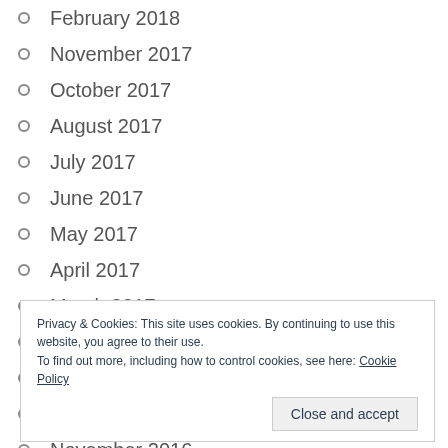February 2018
November 2017
October 2017
August 2017
July 2017
June 2017
May 2017
April 2017
March 2017
February 2017
January 2017
December 2016
November 2016
Privacy & Cookies: This site uses cookies. By continuing to use this website, you agree to their use.
To find out more, including how to control cookies, see here: Cookie Policy
Close and accept